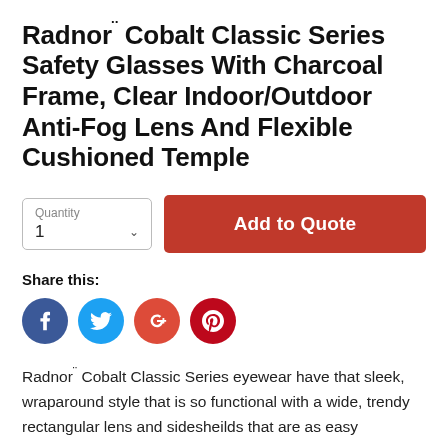Radnor¨ Cobalt Classic Series Safety Glasses With Charcoal Frame, Clear Indoor/Outdoor Anti-Fog Lens And Flexible Cushioned Temple
Quantity 1 | Add to Quote
Share this:
[Figure (infographic): Four social share icons: Facebook (blue), Twitter (blue), Google+ (red), Pinterest (dark red)]
Radnor¨ Cobalt Classic Series eyewear have that sleek, wraparound style that is so functional with a wide, trendy rectangular lens and sidesheilds that are as easy